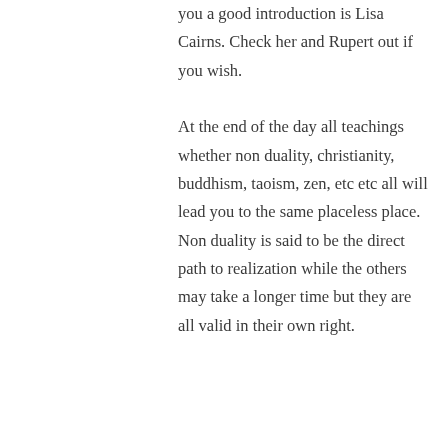you a good introduction is Lisa Cairns. Check her and Rupert out if you wish.
At the end of the day all teachings whether non duality, christianity, buddhism, taoism, zen, etc etc all will lead you to the same placeless place. Non duality is said to be the direct path to realization while the others may take a longer time but they are all valid in their own right.